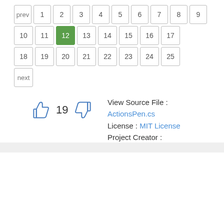[Figure (screenshot): Pagination calendar widget showing numbered page buttons from prev, 1-9, 10-17, 18-25, and next. Page 12 is highlighted in green.]
[Figure (infographic): Thumbs up icon, vote count 19, thumbs down icon]
View Source File : ActionsPen.cs License : MIT License Project Creator :
kfrajtak